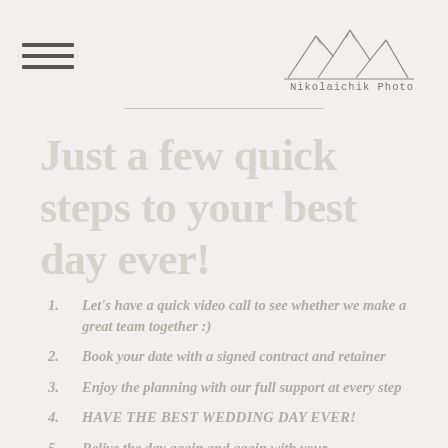Nikolaichik Photo
Just a few quick steps to your best day ever!
1. Let's have a quick video call to see whether we make a great team together :)
2. Book your date with a signed contract and retainer
3. Enjoy the planning with our full support at every step
4. HAVE THE BEST WEDDING DAY EVER!
5. Relive the day again and again with your